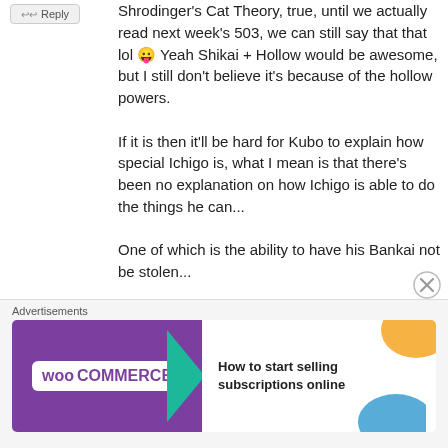Shrodinger's Cat Theory, true, until we actually read next week's 503, we can still say that that lol 😛 Yeah Shikai + Hollow would be awesome, but I still don't believe it's because of the hollow powers.
If it is then it'll be hard for Kubo to explain how special Ichigo is, what I mean is that there's been no explanation on how Ichigo is able to do the things he can...
One of which is the ability to have his Bankai not be stolen...
If we say its the Hollow Powers then the other Vizards are special too, which would seem a bit too obvious for the
[Figure (other): WooCommerce advertisement banner: purple background with WooCommerce logo and arrow, white right section with text 'How to start selling subscriptions online', orange and blue decorative blobs]